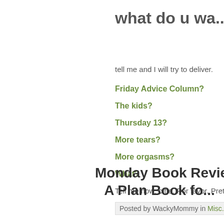what do u wa...
tell me and I will try to deliver.
Friday Advice Column?
The kids?
Thursday 13?
More tears?
More orgasms?
What?
Tell me now, bitte. Por favor. Pretty ple...
Posted by WackyMommy in Misc. | C...
Monday Book Review: A Plan Book for...